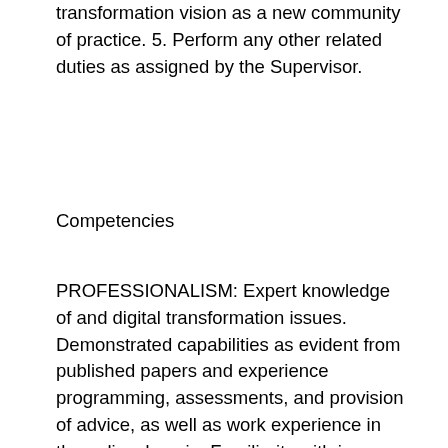transformation vision as a new community of practice. 5. Perform any other related duties as assigned by the Supervisor.
Competencies
PROFESSIONALISM: Expert knowledge of and digital transformation issues. Demonstrated capabilities as evident from published papers and experience programming, assessments, and provision of advice, as well as work experience in the policy domain. Familiarity with issues of relevance to both developing and developed countries and at different scales from global to local. Shows pride in work and in achievements. Demonstrates professional competence and mastery of subject matter. Is conscientious and efficient in meeting commitments, observing deadlines and achieving results. Is motivated by professional rather than personal concerns. Shows persistence when faced with